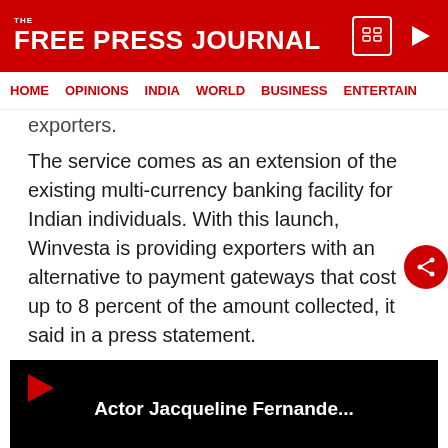THE FREE PRESS JOURNAL
HOME | OPINIONS | INDIA | WORLD | BUSINESS | ENTERTAIN
exporters.
The service comes as an extension of the existing multi-currency banking facility for Indian individuals. With this launch, Winvesta is providing exporters with an alternative to payment gateways that cost up to 8 percent of the amount collected, it said in a press statement.
[Figure (screenshot): Video thumbnail with title 'Actor Jacqueline Fernande...' on black background with play icon and loading spinner]